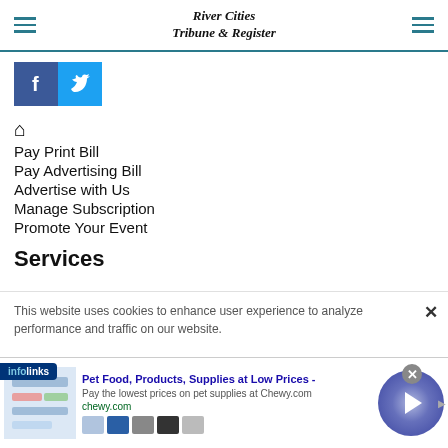River Cities Tribune & Register
[Figure (logo): Facebook and Twitter social media icon buttons]
Pay Print Bill
Pay Advertising Bill
Advertise with Us
Manage Subscription
Promote Your Event
Services
This website uses cookies to enhance user experience to analyze performance and traffic on our website.
[Figure (screenshot): infolinks badge]
[Figure (screenshot): Advertisement: Pet Food, Products, Supplies at Low Prices - chewy.com]